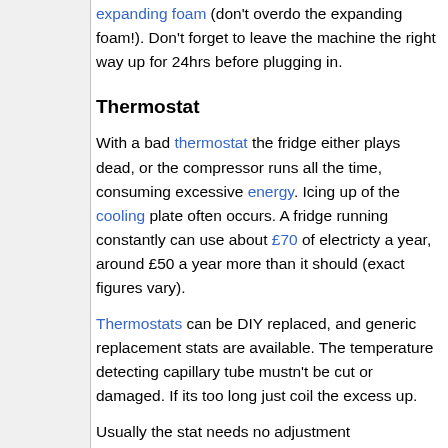expanding foam (don't overdo the expanding foam!). Don't forget to leave the machine the right way up for 24hrs before plugging in.
Thermostat
With a bad thermostat the fridge either plays dead, or the compressor runs all the time, consuming excessive energy. Icing up of the cooling plate often occurs. A fridge running constantly can use about £70 of electricty a year, around £50 a year more than it should (exact figures vary).
Thermostats can be DIY replaced, and generic replacement stats are available. The temperature detecting capillary tube mustn't be cut or damaged. If its too long just coil the excess up.
Usually the stat needs no adjustment